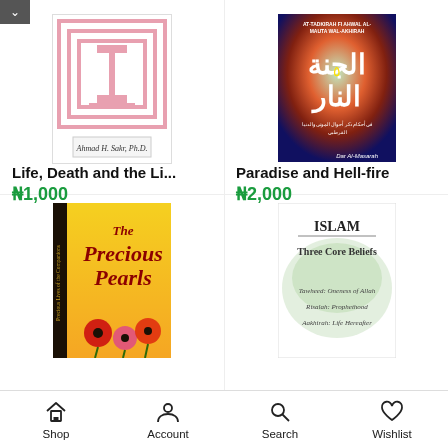[Figure (photo): Book cover: Life, Death and the Li... by Ahmad H. Sakr, Ph.D. - pink/white architectural design with concentric rectangles]
Life, Death and the Li...
₦1,000
[Figure (photo): Book cover: Paradise and Hell-fire - AT-TADKIRAH FI AHWAL AL-MAUTA WAL-AKHIRAH, Arabic text, colorful design with Dar Al-Masarah]
Paradise and Hell-fire
₦2,000
[Figure (photo): Book cover: The Precious Pearls - yellow background with red poppy flowers]
[Figure (photo): Book cover: ISLAM Three Core Beliefs - Tawheed: Oneness of Allah, Risalab: Prophethood, Aakhirah: Life Hereafter]
Shop   Account   Search   Wishlist